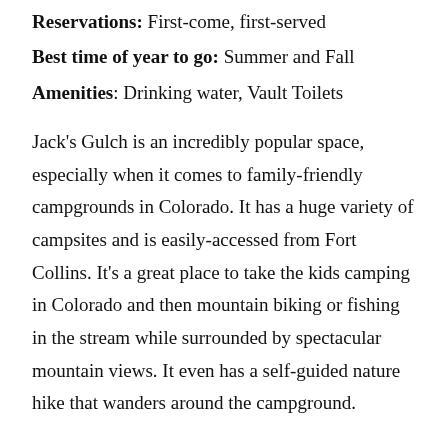Reservations: First-come, first-served
Best time of year to go: Summer and Fall
Amenities: Drinking water, Vault Toilets
Jack's Gulch is an incredibly popular space, especially when it comes to family-friendly campgrounds in Colorado. It has a huge variety of campsites and is easily-accessed from Fort Collins. It's a great place to take the kids camping in Colorado and then mountain biking or fishing in the stream while surrounded by spectacular mountain views. It even has a self-guided nature hike that wanders around the campground.